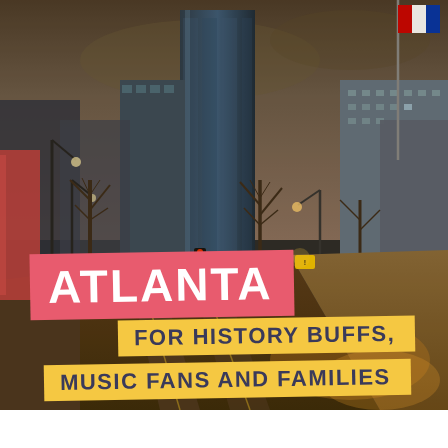[Figure (photo): Street-level view of downtown Atlanta with tall glass skyscrapers, bare winter trees, empty intersection with traffic lights and street lamps, warm golden hour light on the pavement. A flag (Luxembourg) flies in the upper right. Dark dramatic sky above the city skyline.]
ATLANTA
FOR HISTORY BUFFS, MUSIC FANS AND FAMILIES